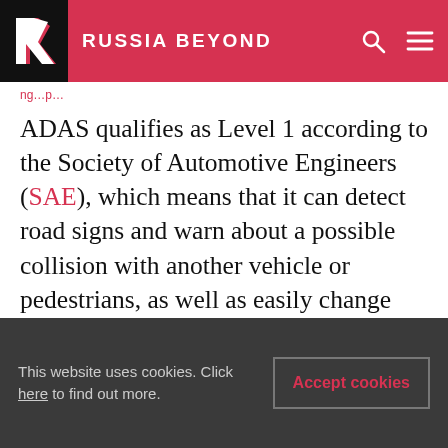RUSSIA BEYOND
ADAS qualifies as Level 1 according to the Society of Automotive Engineers (SAE), which means that it can detect road signs and warn about a possible collision with another vehicle or pedestrians, as well as easily change lanes. This is only the beginning, and the system will be improved.
Level 2 ADAS assists a driver with the control system, including braking and staying in the same lane. The SAE standard has six levels of automation, from fully manual operation (level 0)
This website uses cookies. Click here to find out more.
Accept cookies